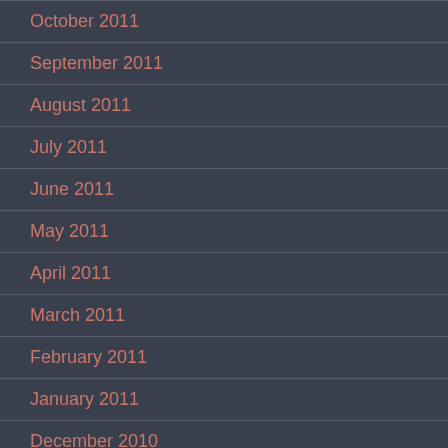October 2011
September 2011
August 2011
July 2011
June 2011
May 2011
April 2011
March 2011
February 2011
January 2011
December 2010